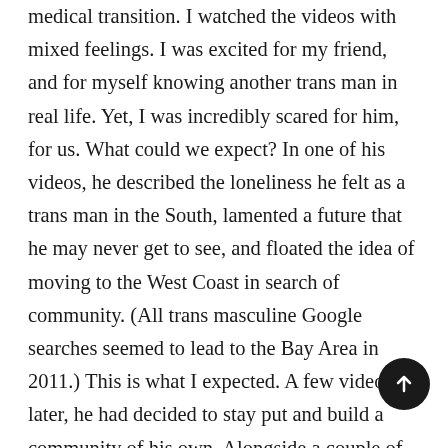medical transition. I watched the videos with mixed feelings. I was excited for my friend, and for myself knowing another trans man in real life. Yet, I was incredibly scared for him, for us. What could we expect? In one of his videos, he described the loneliness he felt as a trans man in the South, lamented a future that he may never get to see, and floated the idea of moving to the West Coast in search of community. (All trans masculine Google searches seemed to lead to the Bay Area in 2011.) This is what I expected. A few videos later, he had decided to stay put and build a community of his own. Alongside a couple of friends in a coffee shop one afternoon, he started Gender Benders (GB), a grassroots support group for trans, nonbinary, and gender diverse people in the area. Within a few months, the group was thriving. That is not what I expected.